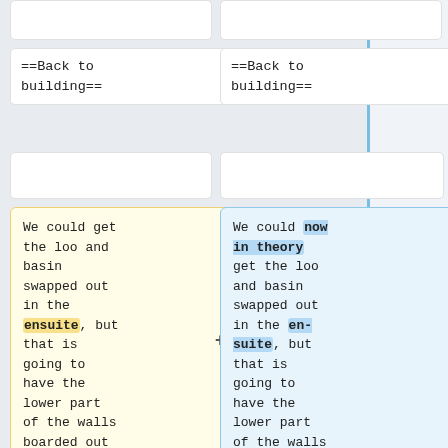==Back to building==
==Back to building==
We could get the loo and basin swapped out in the ensuite, but that is going to have the lower part of the walls boarded out with bead and butt jointed panelling…
We could now in theory get the loo and basin swapped out in the en-suite, but that is going to have the lower part of the walls boarded out with bead and butt jointed